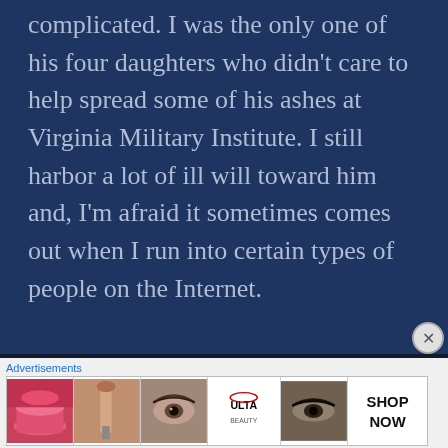complicated. I was the only one of his four daughters who didn't care to help spread some of his ashes at Virginia Military Institute. I still harbor a lot of ill will toward him and, I'm afraid it sometimes comes out when I run into certain types of people on the Internet.

So yeah… I have heard a lot of bad things from men over the years, some of them in the form of mean-spirited comments from men I've actually loved. A lot of men have
[Figure (screenshot): Advertisement banner for ULTA Beauty with cosmetic product images including lips with lipstick, makeup brush, eye with makeup, ULTA logo, eyes with dramatic makeup, and SHOP NOW call to action.]